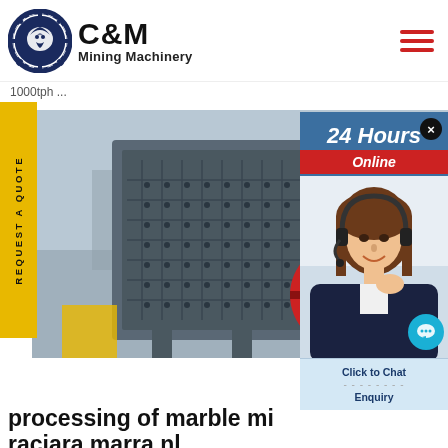[Figure (logo): C&M Mining Machinery logo with eagle/gear emblem in dark navy blue, company name in bold black text]
1000tph ...
[Figure (photo): Industrial jaw crusher / impact crusher machine in a factory setting, grey heavy machinery with red flywheel]
[Figure (photo): 24 Hours Online customer service chat widget with woman wearing headset, chat bubble icon, Click to Chat and Enquiry buttons]
REQUEST A QUOTE
processing of marble mi...
raciara marra nl
Enquiry